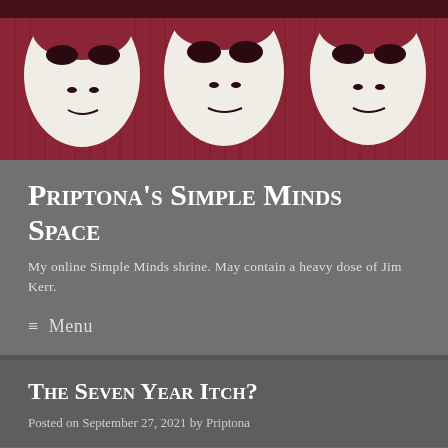[Figure (illustration): Artistic pop-art style image showing three faces with dark eyes in dark red/maroon and white tones, resembling a band promotional image]
Priptona's Simple Minds Space
My online Simple Minds shrine. May contain a heavy dose of Jim Kerr.
≡  Menu
The Seven Year Itch?
Posted on September 27, 2021 by Priptona